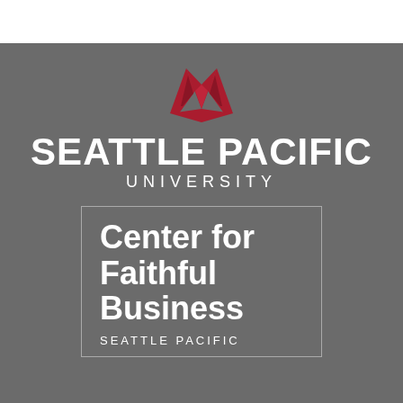[Figure (logo): Seattle Pacific University logo: red stylized falcon/wing mark above white bold text 'SEATTLE PACIFIC' and 'UNIVERSITY' on gray background]
Center for Faithful Business
SEATTLE PACIFIC